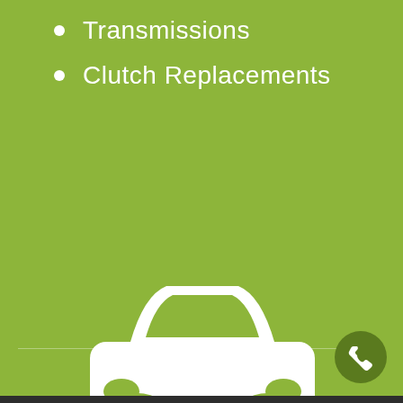Transmissions
Clutch Replacements
[Figure (illustration): White car icon (front view silhouette) on green background]
[Figure (illustration): Phone call button icon — dark green circle with white telephone handset symbol]